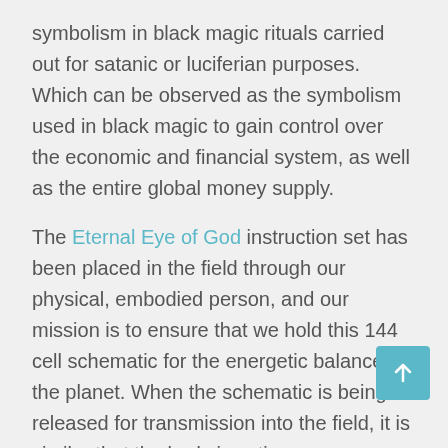symbolism in black magic rituals carried out for satanic or luciferian purposes. Which can be observed as the symbolism used in black magic to gain control over the economic and financial system, as well as the entire global money supply.
The Eternal Eye of God instruction set has been placed in the field through our physical, embodied person, and our mission is to ensure that we hold this 144 cell schematic for the energetic balance of the planet. When the schematic is being released for transmission into the field, it is similar that the body is acting as a transformer for the frequency current, stepping down and stepping up the variation of frequencies as they are being run throughout one's internal circuitry. The Divine Will